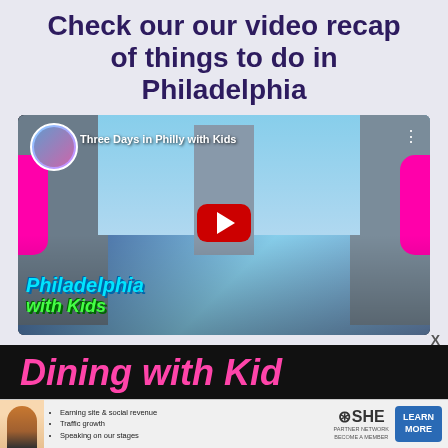Check our our video recap of things to do in Philadelphia
[Figure (screenshot): YouTube video thumbnail showing 'Three Days in Philly with Kids' with children looking at Philadelphia City Hall, overlay text 'Philadelphia with Kids', red YouTube play button in center, pink accents on sides]
[Figure (screenshot): Partial black banner showing 'Dining with Kid' in pink italic text (cropped)]
[Figure (infographic): SHE Partner Network advertisement banner with person photo, bullet points: Earning site & social revenue, Traffic growth, Speaking on our stages, SHE PARTNER NETWORK BECOME A MEMBER logo, LEARN MORE button]